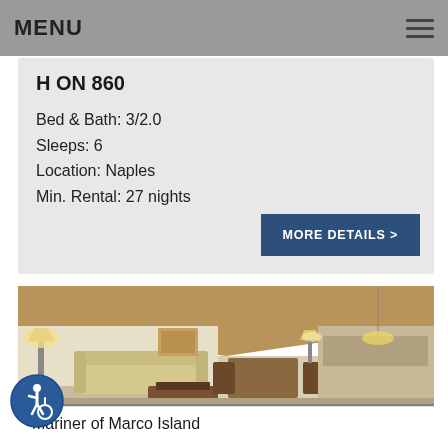MENU
H ON 860
Bed & Bath: 3/2.0
Sleeps: 6
Location: Naples
Min. Rental: 27 nights
MORE DETAILS >
[Figure (photo): Interior photo of a living room with vaulted wood ceiling, sofa, lamp, dining area in background]
Mariner of Marco Island